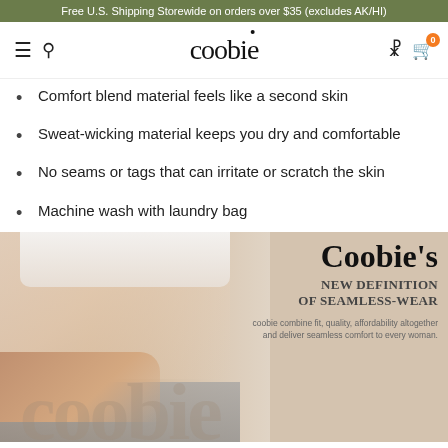Free U.S. Shipping Storewide on orders over $35 (excludes AK/HI)
[Figure (screenshot): Coobie website navigation bar with hamburger menu, search icon, Coobie logo, user icon, and cart icon showing 0 items]
Comfort blend material feels like a second skin
Sweat-wicking material keeps you dry and comfortable
No seams or tags that can irritate or scratch the skin
Machine wash with laundry bag
[Figure (photo): Product lifestyle photo showing a woman's midsection wearing a white seamless top and grey bottoms, with overlay text reading Coobie's NEW DEFINITION OF SEAMLESS-WEAR and subtitle coobie combine fit, quality, affordability altogether and deliver seamless comfort to every woman.]
Add To Cart